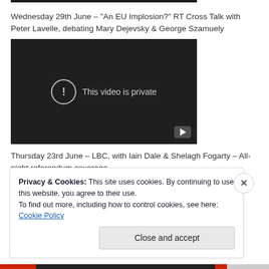[Figure (screenshot): Dark top bar/image cropped at top of page]
Wednesday 29th June – "An EU Implosion?" RT Cross Talk with Peter Lavelle, debating Mary Dejevsky & George Szamuely
[Figure (screenshot): Embedded video player showing 'This video is private' message on dark background with YouTube play button]
Thursday 23rd June – LBC, with Iain Dale & Shelagh Fogarty – All-night referendum coverage
Privacy & Cookies: This site uses cookies. By continuing to use this website, you agree to their use.
To find out more, including how to control cookies, see here: Cookie Policy